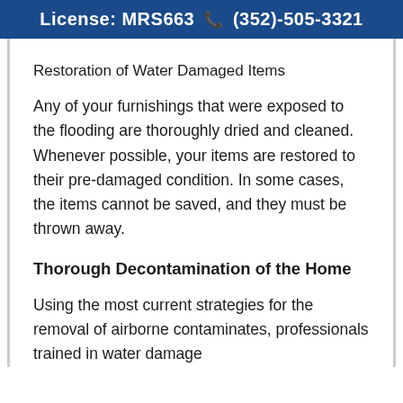License: MRS663 (352)-505-3321
Restoration of Water Damaged Items
Any of your furnishings that were exposed to the flooding are thoroughly dried and cleaned. Whenever possible, your items are restored to their pre-damaged condition. In some cases, the items cannot be saved, and they must be thrown away.
Thorough Decontamination of the Home
Using the most current strategies for the removal of airborne contaminates, professionals trained in water damage